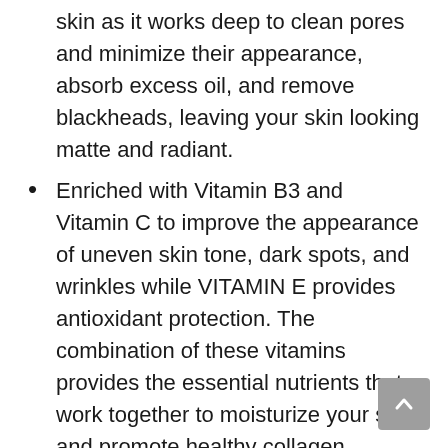skin as it works deep to clean pores and minimize their appearance, absorb excess oil, and remove blackheads, leaving your skin looking matte and radiant.
Enriched with Vitamin B3 and Vitamin C to improve the appearance of uneven skin tone, dark spots, and wrinkles while VITAMIN E provides antioxidant protection. The combination of these vitamins provides the essential nutrients that work together to moisturize your skin and promote healthy collagen production which results in firmer younger-looking skin with a youthful complexion.
Safe for Sensitive Skin - Our cruelty-free mud sheet mask is made with premium quality natural ingredients that are free from alcohols, parabens, and sulfates, making it ideal for those with sensitive skin. It's great for all day use as it's non-comedogenic and won't clog your pores, and